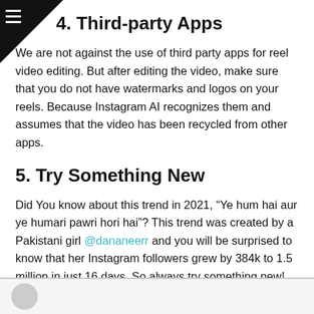4. Third-party Apps
We are not against the use of third party apps for reel video editing. But after editing the video, make sure that you do not have watermarks and logos on your reels. Because Instagram AI recognizes them and assumes that the video has been recycled from other apps.
5. Try Something New
Did You know about this trend in 2021, “Ye hum hai aur ye humari pawri hori hai”? This trend was created by a Pakistani girl @dananeerr and you will be surprised to know that her Instagram followers grew by 384k to 1.5 million in just 16 days. So always try something new!